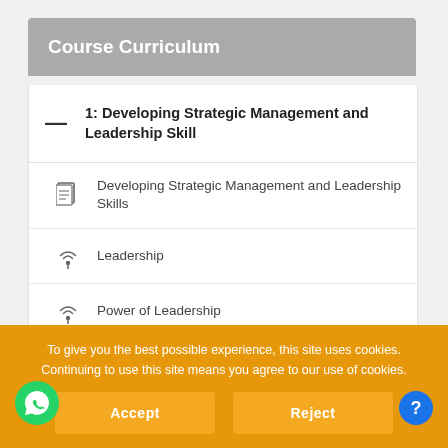Course Curriculum
1: Developing Strategic Management and Leadership Skill
Developing Strategic Management and Leadership Skills
Leadership
Power of Leadership
To give you the best possible experience, this site uses cookies. Continuing to use this site means you agree to our use of cookies.
Accept
Reject